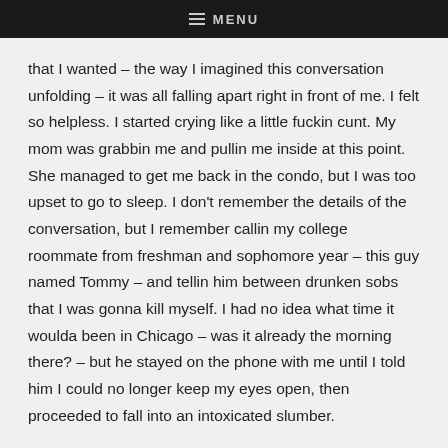MENU
that I wanted – the way I imagined this conversation unfolding – it was all falling apart right in front of me. I felt so helpless. I started crying like a little fuckin cunt. My mom was grabbin me and pullin me inside at this point. She managed to get me back in the condo, but I was too upset to go to sleep. I don't remember the details of the conversation, but I remember callin my college roommate from freshman and sophomore year – this guy named Tommy – and tellin him between drunken sobs that I was gonna kill myself. I had no idea what time it woulda been in Chicago – was it already the morning there? – but he stayed on the phone with me until I told him I could no longer keep my eyes open, then proceeded to fall into an intoxicated slumber.